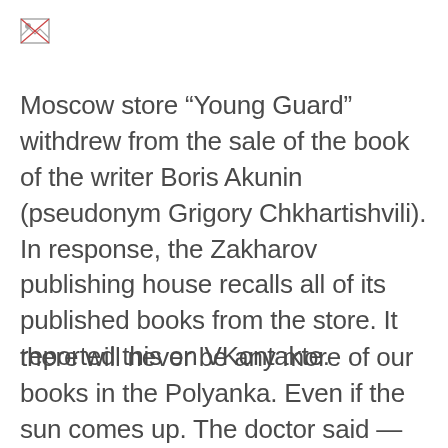[Figure (other): Small broken/placeholder image icon in the top-left corner]
Moscow store “Young Guard” withdrew from the sale of the book of the writer Boris Akunin (pseudonym Grigory Chkhartishvili). In response, the Zakharov publishing house recalls all of its published books from the store. It reported this on VKontakte.
there will never be any more of our books in the Polyanka. Even if the sun comes up. The doctor said —morgue means morgue»— the